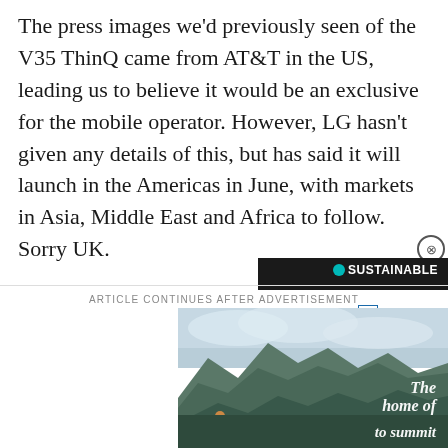The press images we'd previously seen of the V35 ThinQ came from AT&T in the US, leading us to believe it would be an exclusive for the mobile operator. However, LG hasn't given any details of this, but has said it will launch in the Americas in June, with markets in Asia, Middle East and Africa to follow. Sorry UK.
ARTICLE CONTINUES AFTER ADVERTISEMENT
[Figure (photo): Advertisement showing mountain landscape with text 'The home of adventure from sea to summit' and a person with a backpack in the foreground]